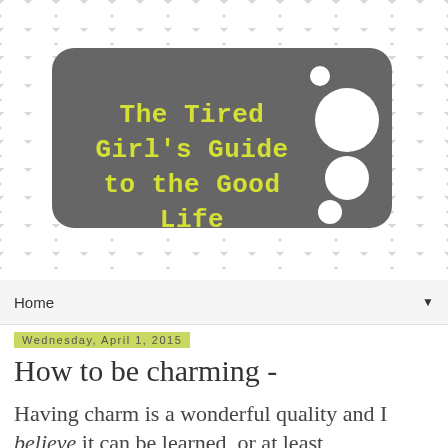[Figure (illustration): Blog header banner with grey and white chevron zigzag background pattern. A dark grey rounded rectangle contains the blog title 'The Tired Girl's Guide to the Good Life' in yellow monospace font, with decorative white circles of varying sizes on the right side.]
Home ▼
Wednesday, April 1, 2015
How to be charming -
Having charm is a wonderful quality and I believe it can be learned, or at least